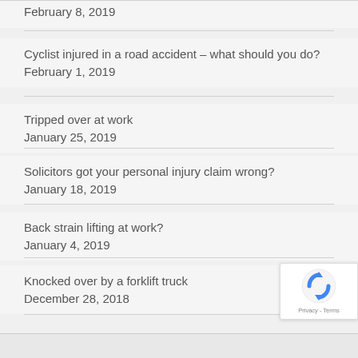February 8, 2019
Cyclist injured in a road accident – what should you do?
February 1, 2019
Tripped over at work
January 25, 2019
Solicitors got your personal injury claim wrong?
January 18, 2019
Back strain lifting at work?
January 4, 2019
Knocked over by a forklift truck
December 28, 2018